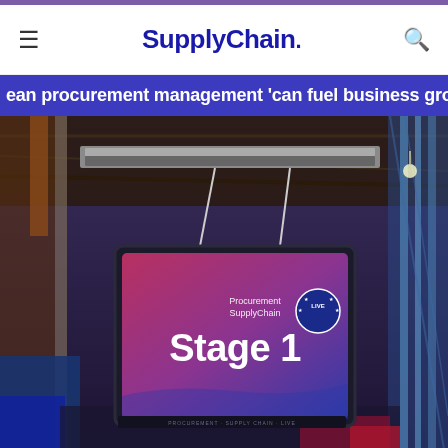SupplyChain.
ean procurement management 'can fuel business growth'
[Figure (photo): Hanging digital sign reading 'Procurement SupplyChain LIVE - Stage 1' with a red-to-blue gradient background, suspended from a ceiling with steel cables in an event venue.]